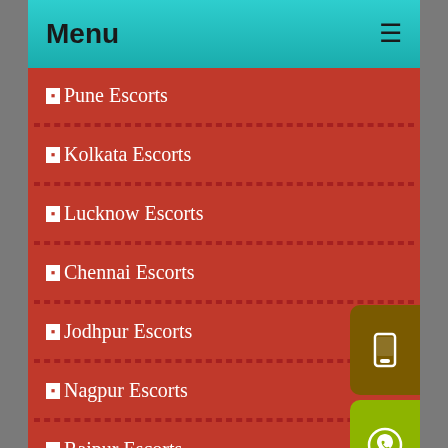Menu
Pune Escorts
Kolkata Escorts
Lucknow Escorts
Chennai Escorts
Jodhpur Escorts
Nagpur Escorts
Raipur Escorts
Udaipur Escorts
C R Park Escorts
Agra Escorts
Allahabad Escorts